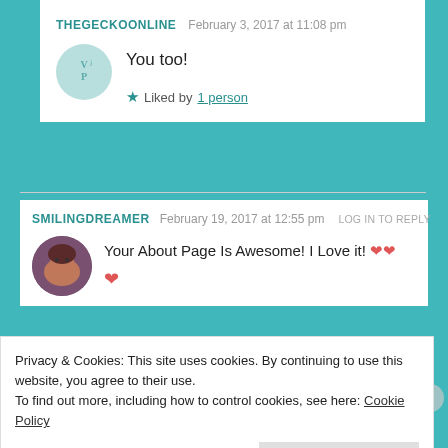THEGECKOONLINE  February 3, 2017 at 11:08 pm
You too!
Liked by 1 person
SMILINGDREAMER  February 19, 2017 at 12:55 pm  LOG IN TO REPLY
Your About Page Is Awesome! I Love it! ❤❤
Privacy & Cookies: This site uses cookies. By continuing to use this website, you agree to their use.
To find out more, including how to control cookies, see here: Cookie Policy
Close and accept